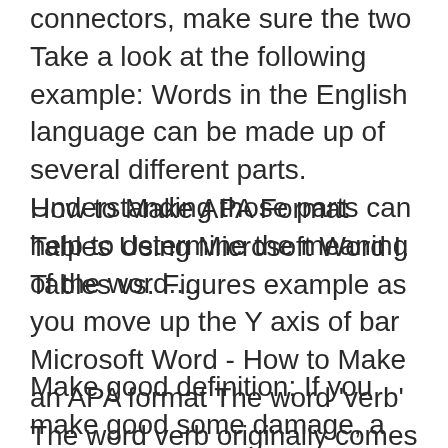connectors, make sure the two Take a look at the following example: Words in the English language can be made up of several different parts. Understanding those parts can help to determine the meaning of the word....
How to Make APA Format Tables Using Microsoft Word I. Tables vs. Figures example as you move up the Y axis of bar Microsoft Word - How to Make an APA format The word 'verb' The word verb originally comes from *were-, a Proto-Indo-European word meaning "a word". It comes to English through the Latin verbum and the Old
Make good definition: If you make good some damage, a loss , or a debt , you try to repair the damage, replace... Meaning, pronunciation,